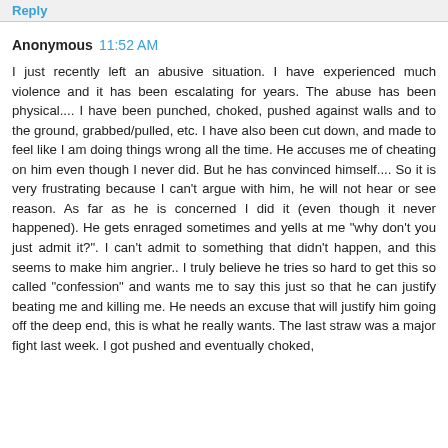Reply
Anonymous  11:52 AM
I just recently left an abusive situation. I have experienced much violence and it has been escalating for years. The abuse has been physical.... I have been punched, choked, pushed against walls and to the ground, grabbed/pulled, etc. I have also been cut down, and made to feel like I am doing things wrong all the time. He accuses me of cheating on him even though I never did. But he has convinced himself.... So it is very frustrating because I can't argue with him, he will not hear or see reason. As far as he is concerned I did it (even though it never happened). He gets enraged sometimes and yells at me "why don't you just admit it?". I can't admit to something that didn't happen, and this seems to make him angrier.. I truly believe he tries so hard to get this so called "confession" and wants me to say this just so that he can justify beating me and killing me. He needs an excuse that will justify him going off the deep end, this is what he really wants. The last straw was a major fight last week. I got pushed and eventually choked,